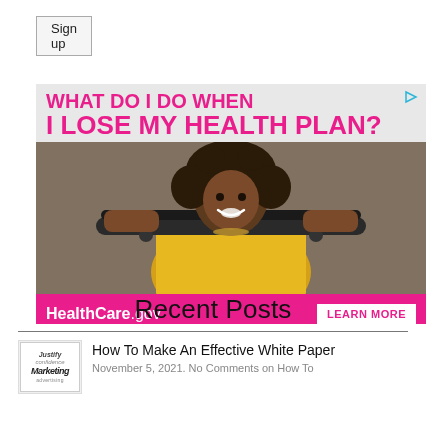Sign up
[Figure (infographic): HealthCare.gov advertisement with bold pink text reading 'WHAT DO I DO WHEN I LOSE MY HEALTH PLAN?' over a grey background, photo of a young woman in a yellow shirt holding a skateboard, and a pink footer bar with HealthCare.gov logo and LEARN MORE button]
Recent Posts
[Figure (photo): Thumbnail image showing Marketing text logo]
How To Make An Effective White Paper
November 5, 2021. No Comments on How To